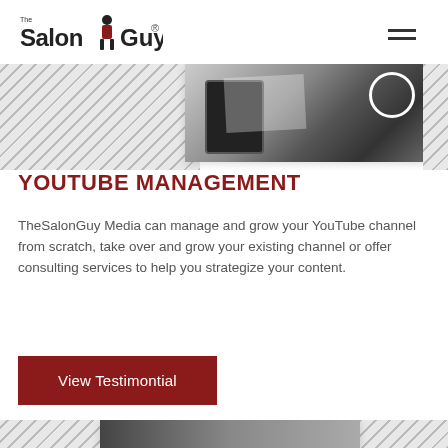The Salon Guy
[Figure (photo): Top image area with diagonal stripe pattern background and a white card with a black and white photo of a smartphone and office items]
YOUTUBE MANAGEMENT
TheSalonGuy Media can manage and grow your YouTube channel from scratch, take over and grow your existing channel or offer consulting services to help you strategize your content.
[Figure (other): Dark red button labeled 'View Testimontial']
[Figure (photo): Bottom partial image area with diagonal stripe pattern and white card with black and white photo partially visible]